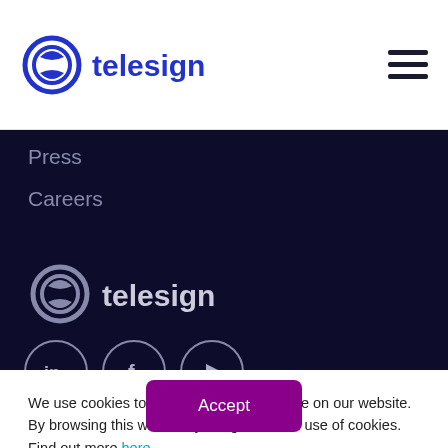telesign logo and navigation hamburger menu
Press
Careers
[Figure (logo): Telesign logo in light color on dark background with circular swirl icon]
[Figure (illustration): Social media icons: LinkedIn, Facebook, YouTube in circle outlines]
We use cookies to improve your experience on our website. By browsing this website, you agree to our use of cookies. Find out more here.
Accept